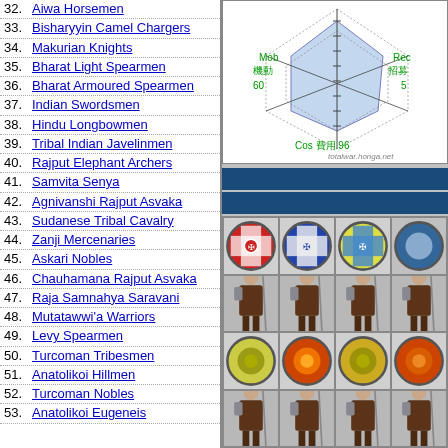32. Aiwa Horsemen
33. Bisharyyin Camel Chargers
34. Makurian Knights
35. Bharat Light Spearmen
36. Bharat Armoured Spearmen
37. Indian Swordsmen
38. Hindu Longbowmen
39. Tribal Indian Javelinmen
40. Rajput Elephant Archers
41. Samvita Senya
42. Agnivanshi Rajput Asvaka
43. Sudanese Tribal Cavalry
44. Zanji Mercenaries
45. Askari Nobles
46. Chauhamana Rajput Asvaka
47. Raja Samnahya Saravani
48. Mutatawwi'a Warriors
49. Levy Spearmen
50. Turcoman Tribesmen
51. Anatolikoi Hillmen
52. Turcoman Nobles
53. Anatolikoi Eugeneis
[Figure (radar-chart): Radar chart showing unit stats including Mob/機動 60, Rec/招募 5, Cos 費用 96. Watermark: totalwar.honga.net]
[Figure (illustration): Grid of unit shields and soldier figures for a strategy game (Total War). Row 1: four faction shields (red cross, blue cross, yellow/blue cross, blue). Row 2: four soldier figures with spears. Row 3: four shields (yellow/green, orange/red, yellow/green, orange/red). Row 4: four soldier figures with spears.]